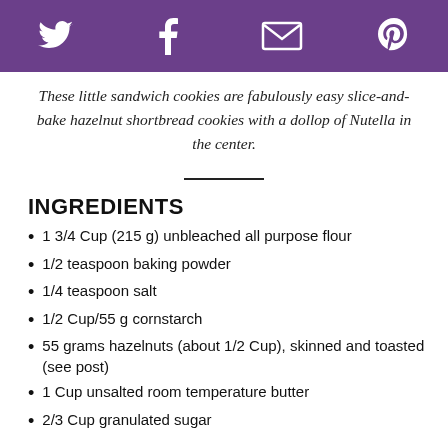Social share icons: Twitter, Facebook, Email, Pinterest
These little sandwich cookies are fabulously easy slice-and-bake hazelnut shortbread cookies with a dollop of Nutella in the center.
INGREDIENTS
1 3/4 Cup (215 g) unbleached all purpose flour
1/2 teaspoon baking powder
1/4 teaspoon salt
1/2 Cup/55 g cornstarch
55 grams hazelnuts (about 1/2 Cup), skinned and toasted (see post)
1 Cup unsalted room temperature butter
2/3 Cup granulated sugar